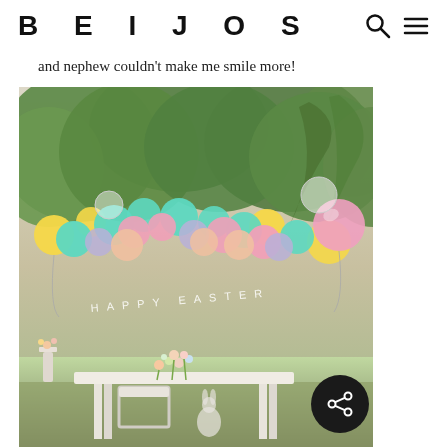BEIJOS
and nephew couldn't make me smile more!
[Figure (photo): Outdoor Easter party setup with a colorful balloon garland in pastel colors (teal, yellow, pink, lavender) with a 'HAPPY EASTER' banner, surrounded by green trees, and a white table with floral arrangements below.]